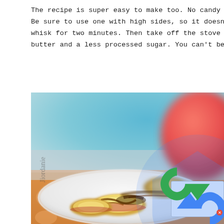The recipe is super easy to make too. No candy thermometer needed. I addo Be sure to use one with high sides, so it doesn't bubble over. Whisk, whisk, whisk for two minutes. Then take off the stove and stir in vanilla extract ano butter and a less processed sugar. You can't beat that!! But do remember th
[Figure (photo): Close-up photo of apple slices on a white plate with caramel sauce drizzled over them, with a blurred red apple in the background and a blue/teal background. Orange patterned tablecloth visible. Watermark text 'Jiordanie' on left side.]